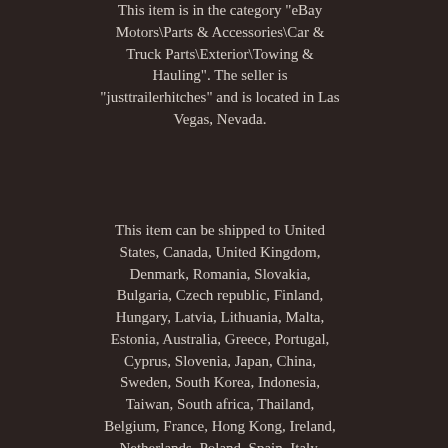This item is in the category "eBay Motors\Parts & Accessories\Car & Truck Parts\Exterior\Towing & Hauling". The seller is "justtrailerhitches" and is located in Las Vegas, Nevada.
This item can be shipped to United States, Canada, United Kingdom, Denmark, Romania, Slovakia, Bulgaria, Czech republic, Finland, Hungary, Latvia, Lithuania, Malta, Estonia, Australia, Greece, Portugal, Cyprus, Slovenia, Japan, China, Sweden, South Korea, Indonesia, Taiwan, South africa, Thailand, Belgium, France, Hong Kong, Ireland, Netherlands, Poland, Spain, Italy, Germany, Austria, Bahamas, Israel, Mexico, New Zealand, Philippines, Singapore, Switzerland, Norway, Saudi arabia, United arab emirates, Qatar, Kuwait, Bahrain, Croatia, Malaysia, Brazil, Chile, Colombia, Costa rica, Panama, Trinidad and tobago, Guatemala, Honduras, Jamaica, Antigua and barbuda, Aruba, Belize, Dominica, Grenada, Saint kitts and nevis,